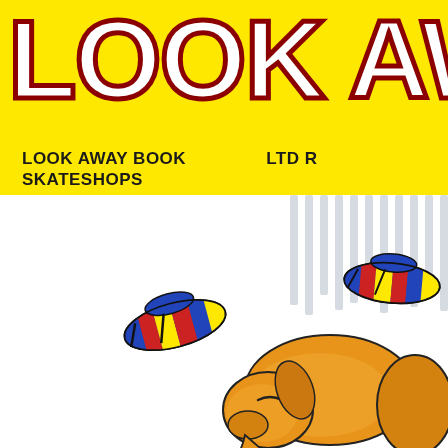LOOK AWA
LOOK AWAY BOOK SKATESHOPS    LTD R
[Figure (illustration): Illustration of a sleeping orange dog lying on a white background with two colorful fez-style hats (striped in blue, red, yellow) placed near it. Vertical curtain-like stripes appear in the upper right background.]